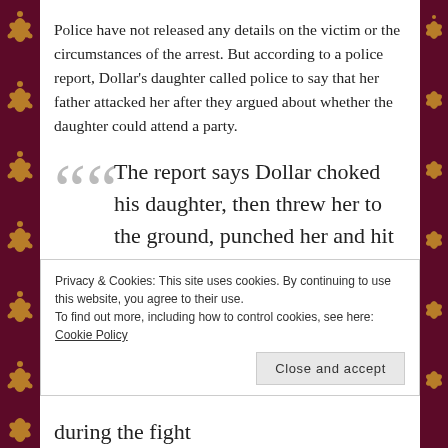Police have not released any details on the victim or the circumstances of the arrest. But according to a police report, Dollar's daughter called police to say that her father attacked her after they argued about whether the daughter could attend a party.
The report says Dollar choked his daughter, then threw her to the ground, punched her and hit her with his shoe. The responding officer
Privacy & Cookies: This site uses cookies. By continuing to use this website, you agree to their use.
To find out more, including how to control cookies, see here: Cookie Policy
during the fight